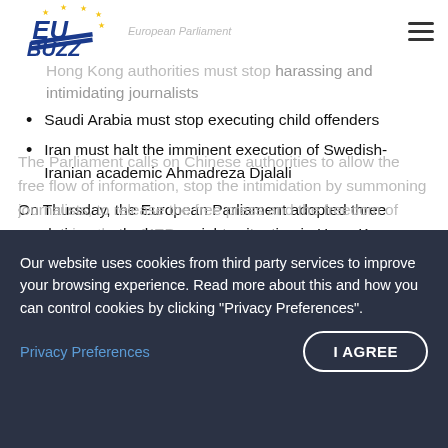EU BUZZ (logo) | European Parliament
Hong Kong authorities must stop harassing and intimidating journalists
Saudi Arabia must stop executing child offenders
Iran must halt the imminent execution of Swedish-Iranian academic Ahmadreza Djalali
On Thursday, the European Parliament adopted three resolutions on the human rights situation in Hong Kong, Saudi Arabia and Iran.
Hong Kong, notably the case of Apple Daily
Our website uses cookies from third party services to improve your browsing experience. Read more about this and how you can control cookies by clicking "Privacy Preferences".
Privacy Preferences
I AGREE